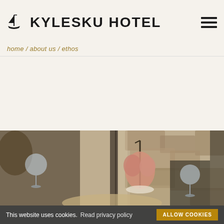KYLESKU HOTEL
home / about us / ethos
[Figure (photo): Two diners at a restaurant table with wine glasses; in the center of the table is a seafood platter on a stand; a rocky landscape is visible through large windows in the background.]
This website uses cookies.  Read privacy policy  ALLOW COOKIES